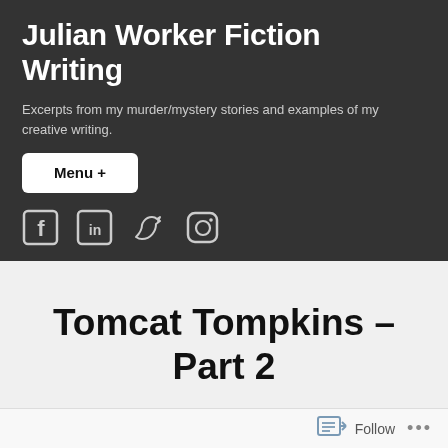Julian Worker Fiction Writing
Excerpts from my murder/mystery stories and examples of my creative writing.
Menu +
[Figure (illustration): Social media icons: Facebook, LinkedIn, Twitter, Instagram]
Tomcat Tompkins – Part 2
Follow ...